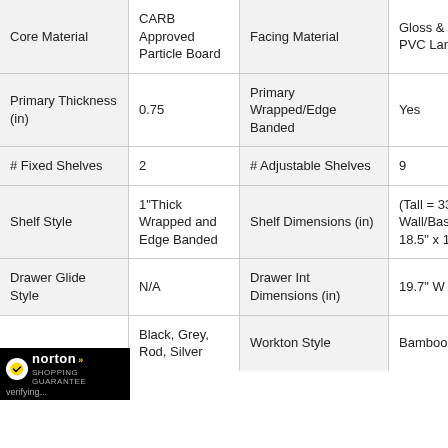| Attribute | Value | Attribute | Value |
| --- | --- | --- | --- |
| Core Material | CARB Approved Particle Board | Facing Material | Gloss & Textured PVC Laminate |
| Primary Thickness (in) | 0.75 | Primary Wrapped/Edge Banded | Yes |
| # Fixed Shelves | 2 | # Adjustable Shelves | 9 |
| Shelf Style | 1" Thick Wrapped and Edge Banded | Shelf Dimensions (in) | (Tall = 33.8"W / Wall/Base = 22"W) x 18.5" x 1" |
| Drawer Glide Style | N/A | Drawer Int Dimensions (in) | 19.7" W x 15" x 4.3" |
|  | Black, Grey, Rod, Silver | Workton Style | Bamboo |